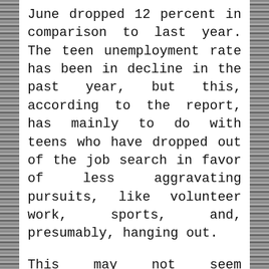June dropped 12 percent in comparison to last year. The teen unemployment rate has been in decline in the past year, but this, according to the report, has mainly to do with teens who have dropped out of the job search in favor of less aggravating pursuits, like volunteer work, sports, and, presumably, hanging out.
This may not seem problematic, but recent research indicates that the summer unemployed might be losing ground to their working peers. A study out of the University of British Columbia published in the most recent issue of Research in the Sociology of Work found that teens who work